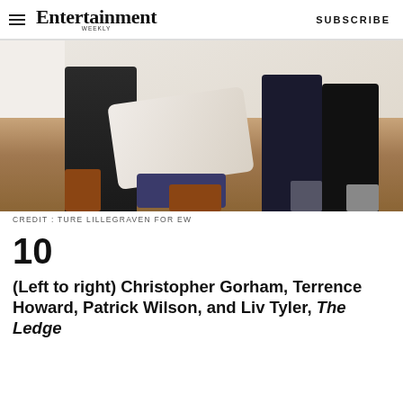Entertainment Weekly | SUBSCRIBE
[Figure (photo): Photo of people's legs and boots on a wooden floor — Christopher Gorham, Terrence Howard, Patrick Wilson, and Liv Tyler from The Ledge]
CREDIT : TURE LILLEGRAVEN FOR EW
10
(Left to right) Christopher Gorham, Terrence Howard, Patrick Wilson, and Liv Tyler, The Ledge